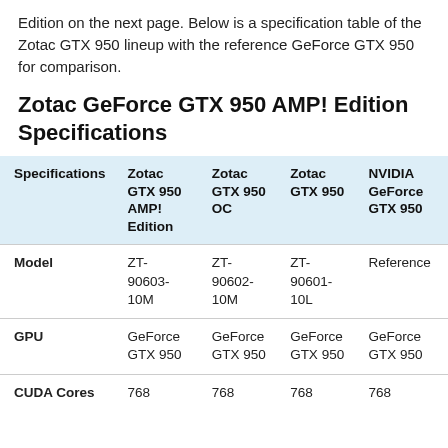Edition on the next page. Below is a specification table of the Zotac GTX 950 lineup with the reference GeForce GTX 950 for comparison.
Zotac GeForce GTX 950 AMP! Edition Specifications
| Specifications | Zotac GTX 950 AMP! Edition | Zotac GTX 950 OC | Zotac GTX 950 | NVIDIA GeForce GTX 950 |
| --- | --- | --- | --- | --- |
| Model | ZT-90603-10M | ZT-90602-10M | ZT-90601-10L | Reference |
| GPU | GeForce GTX 950 | GeForce GTX 950 | GeForce GTX 950 | GeForce GTX 950 |
| CUDA Cores | 768 | 768 | 768 | 768 |